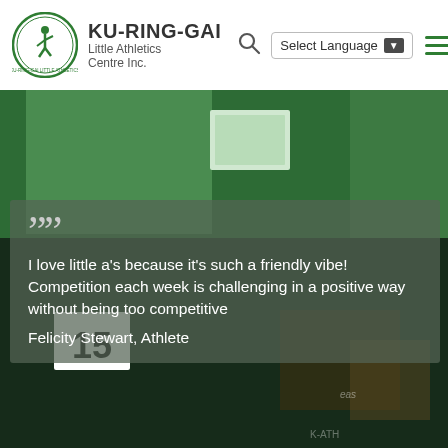KU-RING-GAI Little Athletics Centre Inc.
[Figure (photo): Background photo of athletes in green jerseys at a little athletics event, with a runner wearing bib number 15 visible in the lower left]
““ I love little a’s because it’s such a friendly vibe! Competition each week is challenging in a positive way without being too competitive Felicity Stewart, Athlete